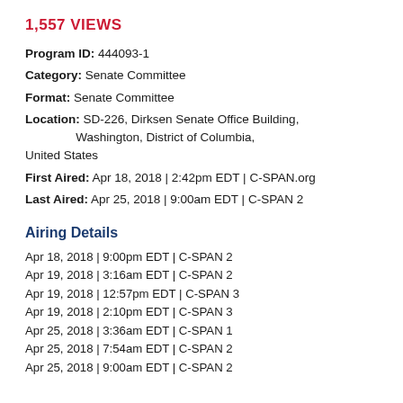1,557 VIEWS
Program ID: 444093-1
Category: Senate Committee
Format: Senate Committee
Location: SD-226, Dirksen Senate Office Building, Washington, District of Columbia, United States
First Aired: Apr 18, 2018 | 2:42pm EDT | C-SPAN.org
Last Aired: Apr 25, 2018 | 9:00am EDT | C-SPAN 2
Airing Details
Apr 18, 2018 | 9:00pm EDT | C-SPAN 2
Apr 19, 2018 | 3:16am EDT | C-SPAN 2
Apr 19, 2018 | 12:57pm EDT | C-SPAN 3
Apr 19, 2018 | 2:10pm EDT | C-SPAN 3
Apr 25, 2018 | 3:36am EDT | C-SPAN 1
Apr 25, 2018 | 7:54am EDT | C-SPAN 2
Apr 25, 2018 | 9:00am EDT | C-SPAN 2